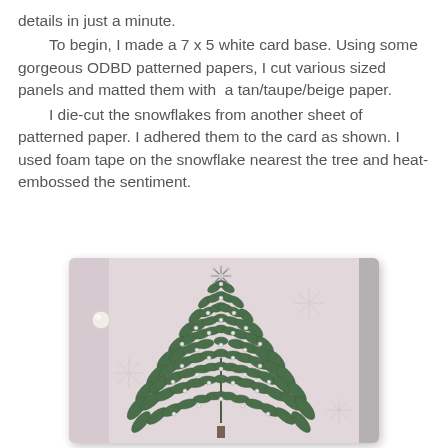details in just a minute.
	To begin, I made a 7 x 5 white card base. Using some gorgeous ODBD patterned papers, I cut various sized panels and matted them with a tan/taupe/beige paper.
	I die-cut the snowflakes from another sheet of patterned paper. I adhered them to the card as shown. I used foam tape on the snowflake nearest the tree and heat-embossed the sentiment.
[Figure (photo): A handmade Christmas card featuring a die-cut green leafy Christmas tree decorated with small rhinestone gems and topped with a snowflake star embellishment, on a light pink/lavender patterned background with snowflake designs.]